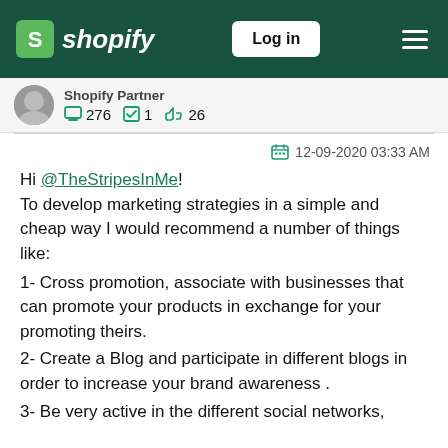Shopify — Log in
Shopify Partner
276 messages  1 solution  26 likes
12-09-2020 03:33 AM
Hi @TheStripesInMe!
To develop marketing strategies in a simple and cheap way I would recommend a number of things like:
1- Cross promotion, associate with businesses that can promote your products in exchange for your promoting theirs.
2- Create a Blog and participate in different blogs in order to increase your brand awareness .
3- Be very active in the different social networks,